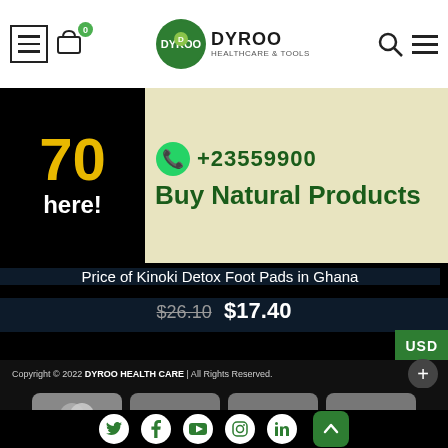[Figure (screenshot): Website header with hamburger menu icon, cart icon with badge showing 0, Dyroo Healthcare logo in center, search icon and hamburger menu on right]
[Figure (photo): Promotional banner showing partial text '70' and 'here!' on black background left side, and green text with phone number and 'Buy Natural Products' on cream/yellow background right side]
Price of Kinoki Detox Foot Pads in Ghana
$26.10 $17.40
USD
Copyright © 2022 DYROO HEALTH CARE | All Rights Reserved.
[Figure (infographic): Payment method icons: MasterCard, VISA, CASH ON DELIVERY, Mobile Money]
[Figure (infographic): Social media icons: Twitter, Facebook, YouTube, Instagram, LinkedIn. Green scroll-to-top button.]